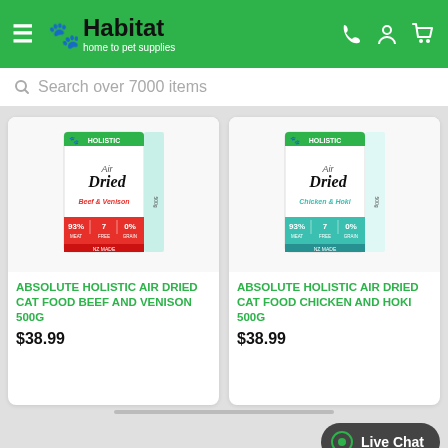Habitat — home to pet supplies
Search over 7000 items
[Figure (photo): Product box: Absolute Holistic Air Dried Cat Food Beef and Venison 500g — red and white packaging with holistic paw logo]
ABSOLUTE HOLISTIC AIR DRIED CAT FOOD BEEF AND VENISON 500G
$38.99
[Figure (photo): Product box: Absolute Holistic Air Dried Cat Food Chicken and Hoki 500g — teal/green and white packaging with holistic paw logo]
ABSOLUTE HOLISTIC AIR DRIED CAT FOOD CHICKEN AND HOKI 500G
$38.99
Live Chat